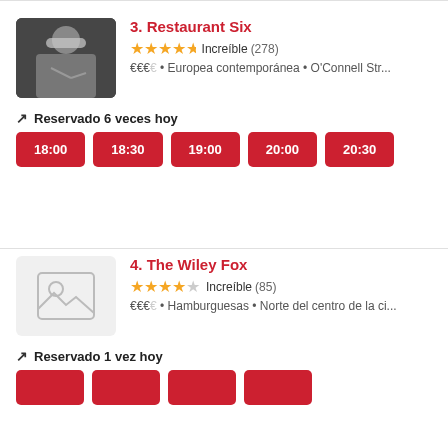[Figure (photo): Photo of a chef plating food in a restaurant kitchen]
3. Restaurant Six
★★★★½ Increíble (278)
€€€€ • Europea contemporánea • O'Connell Str...
Reservado 6 veces hoy
18:00
18:30
19:00
20:00
20:30
[Figure (illustration): Placeholder image icon for restaurant]
4. The Wiley Fox
★★★★½ Increíble (85)
€€€€ • Hamburguesas • Norte del centro de la ci...
Reservado 1 vez hoy